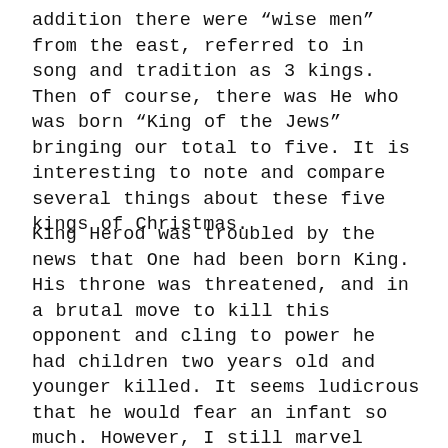addition there were “wise men” from the east, referred to in song and tradition as 3 kings. Then of course, there was He who was born “King of the Jews” bringing our total to five. It is interesting to note and compare several things about these five kings of Christmas.
King Herod was troubled by the news that One had been born King. His throne was threatened, and in a brutal move to kill this opponent and cling to power he had children two years old and younger killed. It seems ludicrous that he would fear an infant so much. However, I still marvel today at those who feel threatened by Jesus. Yes, He is the rightful king of your life and you ought to yield the throne of your heart to Him, and if you do you will